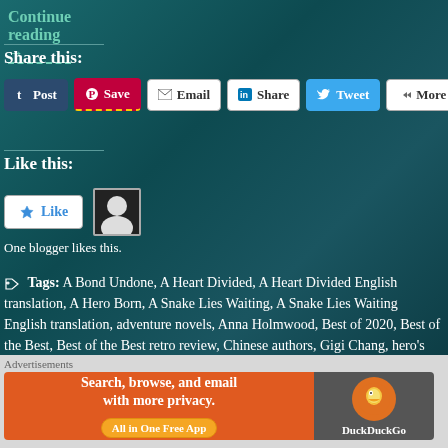Continue reading →
Share this:
[Figure (screenshot): Social sharing buttons: Post (Tumblr), Save (Pinterest), Email, Share (LinkedIn), Tweet (Twitter), More]
Like this:
[Figure (screenshot): Like button with star icon; blogger avatar thumbnail]
One blogger likes this.
Tags: A Bond Undone, A Heart Divided, A Heart Divided English translation, A Hero Born, A Snake Lies Waiting, A Snake Lies Waiting English translation, adventure novels, Anna Holmwood, Best of 2020, Best of the Best, Best of the Best retro review, Chinese authors, Gigi Chang, hero's
[Figure (screenshot): DuckDuckGo advertisement banner: Search, browse, and email with more privacy. All in One Free App.]